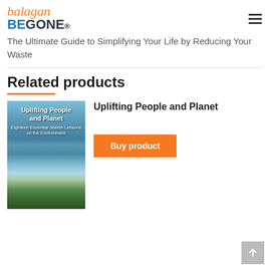balagan BE GONE
The Ultimate Guide to Simplifying Your Life by Reducing Your Waste
Related products
[Figure (photo): Book cover of 'Uplifting People and Planet: Eighteen Essential Jewish Lessons on the Environment' with waterfall and green landscape background]
Uplifting People and Planet
Buy product